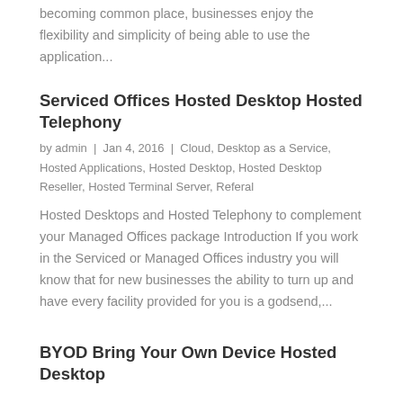becoming common place, businesses enjoy the flexibility and simplicity of being able to use the application...
Serviced Offices Hosted Desktop Hosted Telephony
by admin | Jan 4, 2016 | Cloud, Desktop as a Service, Hosted Applications, Hosted Desktop, Hosted Desktop Reseller, Hosted Terminal Server, Referal
Hosted Desktops and Hosted Telephony to complement your Managed Offices package Introduction If you work in the Serviced or Managed Offices industry you will know that for new businesses the ability to turn up and have every facility provided for you is a godsend,...
BYOD Bring Your Own Device Hosted Desktop